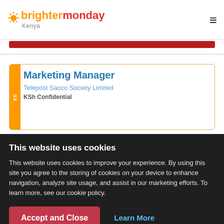brightermonday Kenya
Marketing Manager
Telepost Sacco Society Limited
KSh Confidential
This website uses cookies
This website uses cookies to improve your experience. By using this site you agree to the storing of cookies on your device to enhance navigation, analyze site usage, and assist in our marketing efforts. To learn more, see our cookie policy.
Accept and Close
Learn More